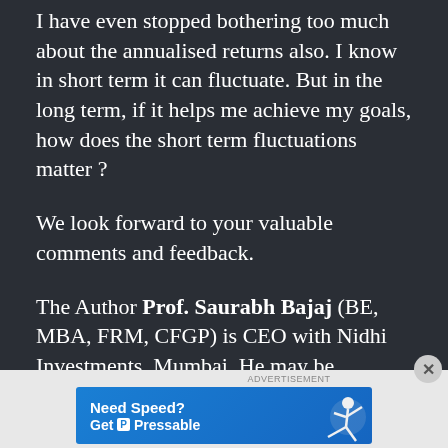I have even stopped bothering too much about the annualised returns also. I know in short term it can fluctuate. But in the long term, if it helps me achieve my goals, how does the short term fluctuations matter ?
We look forward to your valuable comments and feedback.
The Author Prof. Saurabh Bajaj (BE, MBA, FRM, CFGP) is CEO with Nidhi Investments, Mumbai. He may be contacted on CEO@nidhiinvestments.com if you have any questions.
[Figure (infographic): Advertisement banner: 'Need Speed? Get Pressable' with a figure of a running/flying person on a blue background]